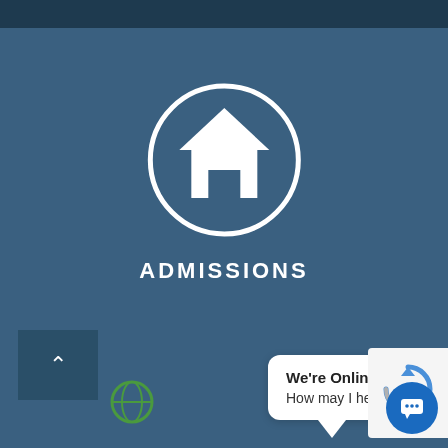[Figure (screenshot): Screenshot of a university admissions webpage with a dark blue background. A white circle icon with a house/home symbol is centered on the page above the word ADMISSIONS in white uppercase letters. At the bottom: a scroll-up button on the left, a chat bubble saying 'We're Online! How may I help you today?' in the center-right, a reCAPTCHA box on the far right, and a blue chat messenger button.]
ADMISSIONS
We're Online!
How may I help you today?